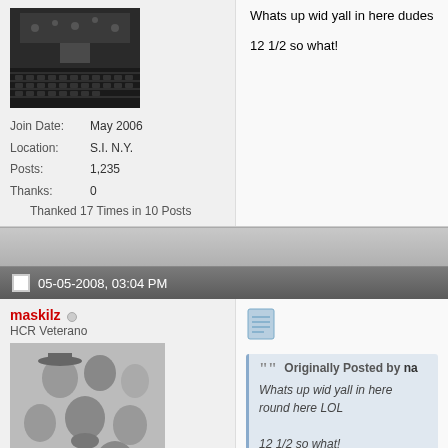[Figure (photo): Avatar image of a concert hall or auditorium with rows of seats and stage equipment, black and white/dark toned]
Join Date: May 2006
Location: S.I. N.Y.
Posts: 1,235
Thanks: 0
Thanked 17 Times in 10 Posts
Whats up wid yall in here dudes

12 1/2 so what!
05-05-2008, 03:04 PM
maskilz
HCR Veterano
[Figure (illustration): Black and white illustration of multiple historical figures/faces with text 'Directory of Theology' at the bottom]
Join Date: Nov 2005
Location: Ft. Lauderdale, FL
Posts: 1,330
Thanks: 1,776
Originally Posted by na
Whats up wid yall in here round here LOL
12 1/2 so what!
That's just mean